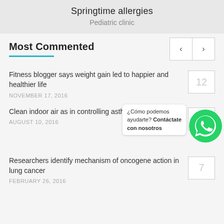Springtime allergies
Pediatric clinic
Most Commented
Fitness blogger says weight gain led to happier and healthier life
NOVEMBER 17, 2016
Clean indoor air as in controlling asthma
AUGUST 10, 2016
Researchers identify mechanism of oncogene action in lung cancer
FEBRUARY 26, 2016
[Figure (other): WhatsApp contact button with Spanish text overlay: ¿Cómo podemos ayudarte? Contáctate con nosotros]